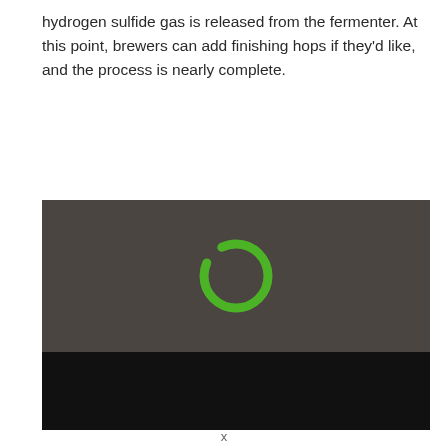hydrogen sulfide gas is released from the fermenter. At this point, brewers can add finishing hops if they'd like, and the process is nearly complete.
[Figure (screenshot): A video player showing a loading spinner (green ring) centered on a dark gray/brown background, with a black control bar at the bottom.]